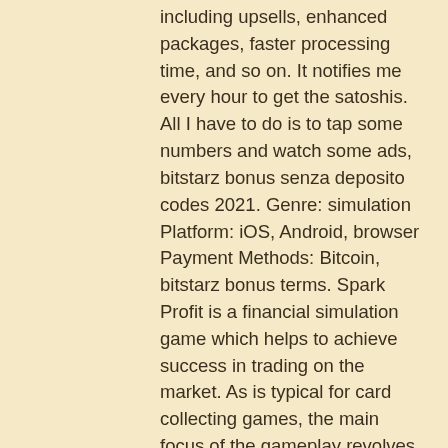including upsells, enhanced packages, faster processing time, and so on. It notifies me every hour to get the satoshis. All I have to do is to tap some numbers and watch some ads, bitstarz bonus senza deposito codes 2021. Genre: simulation Platform: iOS, Android, browser Payment Methods: Bitcoin, bitstarz bonus terms. Spark Profit is a financial simulation game which helps to achieve success in trading on the market. As is typical for card collecting games, the main focus of the gameplay revolves around battles, bitstarz bonus no deposit. Winners of low-level tournaments can expect to earn experience points and booster decks. Now you're armed with some knowledge of the best Bitcoin dice strategies, let's dive in and review some of the best places to play Bitcoin dice! Check out the table below for a quick overview of the top sites or scroll down to see a detailed review of each, bitstarz bonus senza deposito 20 ilmaiskierroksia